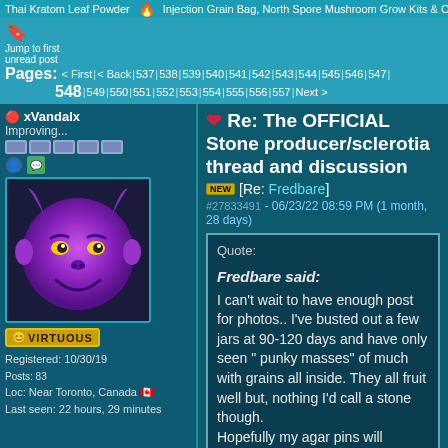Thai Kratom Leaf Powder | Injection Grain Bag, North Spore Mushroom Grow Kits & Cultivation Supplies
Pages: < First | < Back | 537 | 538 | 539 | 540 | 541 | 542 | 543 | 544 | 545 | 546 | 547 | 548 | 549 | 550 | 551 | 552 | 553 | 554 | 555 | 556 | 557 | Next >
[Figure (illustration): Purple devil smiley face emoji avatar for user xVandalx]
xVandalx
Improving...
Registered: 10/30/19
Posts: 83
Loc: Near Toronto, Canada
Last seen: 22 hours, 29 minutes
Re: The OFFICIAL Stone producer/sclerotia thread and discussion
[Re: Fredbare]
#27833491 - 06/23/22 08:59 PM (1 month, 28 days)
Quote:
Fredbare said:
I can't wait to have enough post for photos.. I've busted out a few jars at 90-120 days and have only seen " punky masses" of much with grains all inside. They all fruit well but, nothing I'd call a stone though.
Hopefully my agar pins will provide.. if not agar pebbles will be next  thanks for sharing all!
I've never harvested "large" stones from jars, and yes they always seem to be mostly balls of grain held together with mycelium. They